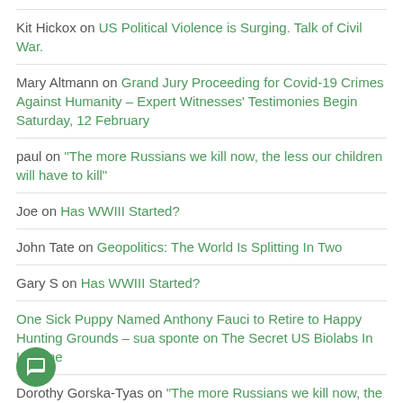Kit Hickox on US Political Violence is Surging. Talk of Civil War.
Mary Altmann on Grand Jury Proceeding for Covid-19 Crimes Against Humanity – Expert Witnesses' Testimonies Begin Saturday, 12 February
paul on "The more Russians we kill now, the less our children will have to kill"
Joe on Has WWIII Started?
John Tate on Geopolitics: The World Is Splitting In Two
Gary S on Has WWIII Started?
One Sick Puppy Named Anthony Fauci to Retire to Happy Hunting Grounds – sua sponte on The Secret US Biolabs In Ukraine
Dorothy Gorska-Tyas on "The more Russians we kill now, the less our children will have to kill"
WiS 'Solid, Rational' Reasons to Microchip Children on Klaus b: Great Reset Will "Lead To Fusion Of Our Physical, Digital, & Biological Identity"